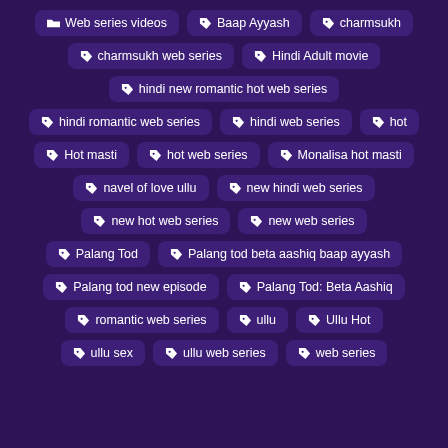🏷 Web series videos
🏷 Baap Ayyash
🏷 charmsukh
🏷 charmsukh web series
🏷 Hindi Adult movie
🏷 hindi new romantic hot web series
🏷 hindi romantic web series
🏷 hindi web series
🏷 hot
🏷 Hot masti
🏷 hot web series
🏷 Monalisa hot masti
🏷 navel of love ullu
🏷 new hindi web series
🏷 new hot web series
🏷 new web series
🏷 Palang Tod
🏷 Palang tod beta aashiq baap ayyash
🏷 Palang tod new episode
🏷 Palang Tod: Beta Aashiq
🏷 romantic web series
🏷 ullu
🏷 Ullu Hot
🏷 ullu sex
🏷 ullu web series
🏷 web series